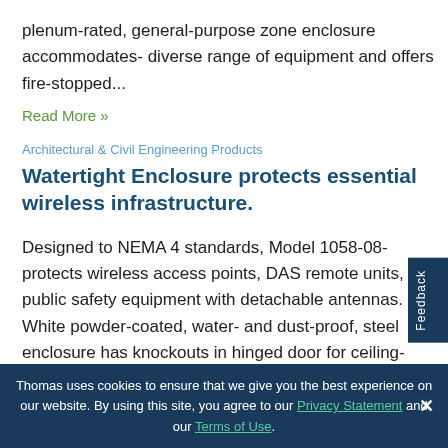plenum-rated, general-purpose zone enclosure accommodates- diverse range of equipment and offers fire-stopped...
Read More »
Architectural & Civil Engineering Products
Watertight Enclosure protects essential wireless infrastructure.
Designed to NEMA 4 standards, Model 1058-08- protects wireless access points, DAS remote units, and public safety equipment with detachable antennas. White powder-coated, water- and dust-proof, steel enclosure has knockouts in hinged door for ceiling-mounted antennas o watertight bulkhead connectors for antennas. Depth of
Thomas uses cookies to ensure that we give you the best experience on our website. By using this site, you agree to our Privacy Statement and our Terms of Use.